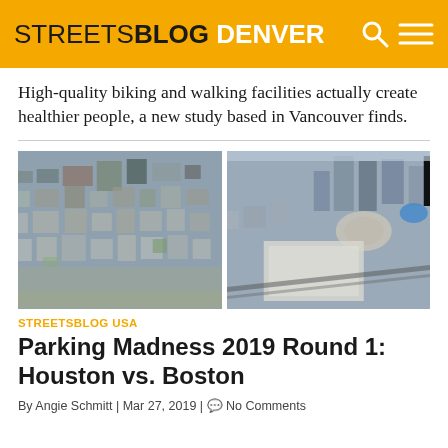STREETSBLOG DENVER
High-quality biking and walking facilities actually create healthier people, a new study based in Vancouver finds.
[Figure (photo): Side-by-side aerial views of two downtown city areas — left showing Houston with dense low-rise parking lots, right showing Boston with taller modern buildings]
STREETSBLOG USA
Parking Madness 2019 Round 1: Houston vs. Boston
By Angie Schmitt | Mar 27, 2019 | 💬 No Comments